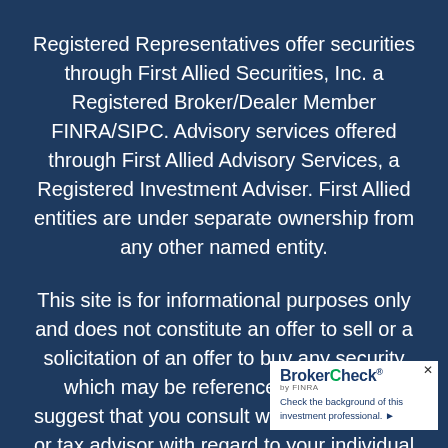Registered Representatives offer securities through First Allied Securities, Inc. a Registered Broker/Dealer Member FINRA/SIPC. Advisory services offered through First Allied Advisory Services, a Registered Investment Adviser. First Allied entities are under separate ownership from any other named entity.
This site is for informational purposes only and does not constitute an offer to sell or a solicitation of an offer to buy any security which may be referenced herein We suggest that you consult with your financial or tax advisor with regard to your individual situation. This site has been published in the United States for resident of the United States. Persons men[tioned on this] site may only transact business in states in[...]
[Figure (logo): BrokerCheck by FINRA overlay widget with text 'Check the background of this investment professional.' and a right-arrow link.]